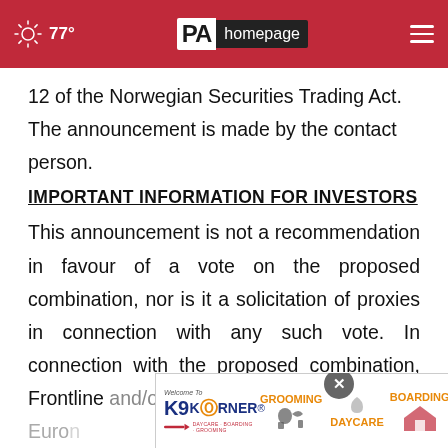77° | PA homepage
12 of the Norwegian Securities Trading Act. The announcement is made by the contact person.
IMPORTANT INFORMATION FOR INVESTORS
This announcement is not a recommendation in favour of a vote on the proposed combination, nor is it a solicitation of proxies in connection with any such vote. In connection with the proposed combination, Frontline and/or Euro[nav may file a registration statement/proxy] state[ment which] [may con]stitute a
[Figure (advertisement): K9 Korner advertisement banner showing grooming, daycare, and boarding services]